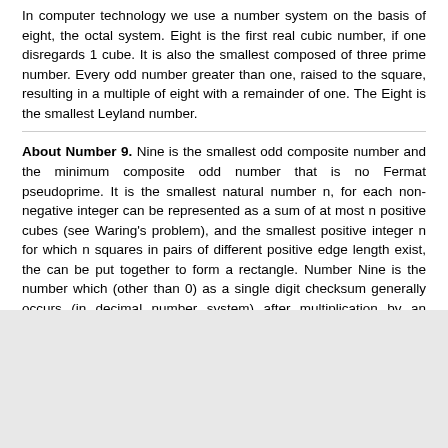In computer technology we use a number system on the basis of eight, the octal system. Eight is the first real cubic number, if one disregards 1 cube. It is also the smallest composed of three prime number. Every odd number greater than one, raised to the square, resulting in a multiple of eight with a remainder of one. The Eight is the smallest Leyland number.
About Number 9. Nine is the smallest odd composite number and the minimum composite odd number that is no Fermat pseudoprime. It is the smallest natural number n, for each non-negative integer can be represented as a sum of at most n positive cubes (see Waring's problem), and the smallest positive integer n for which n squares in pairs of different positive edge length exist, the can be put together to form a rectangle. Number Nine is the number which (other than 0) as a single digit checksum generally occurs (in decimal number system) after multiplication by an arbitrary integer always even, and the number which is added to any other (except 0 and -9), as a single digit checksum the same result as the starting number itself - ie it behaves quasi-neutral.